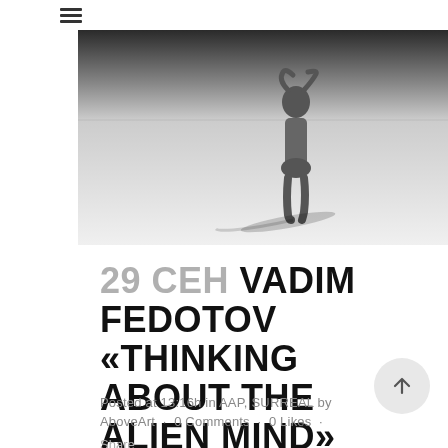[Figure (photo): Black and white photograph of a nude figure standing on a vast salt flat or desert, casting a shadow, with a flat horizon behind them. The figure has their hands raised near their head.]
29 СЕН VADIM FEDOTOV «THINKING ABOUT THE ALIEN MIND»
Posted at 13:16h in AAP, SURREAL by AboveArt · 0 Comments · 0 Likes · Share